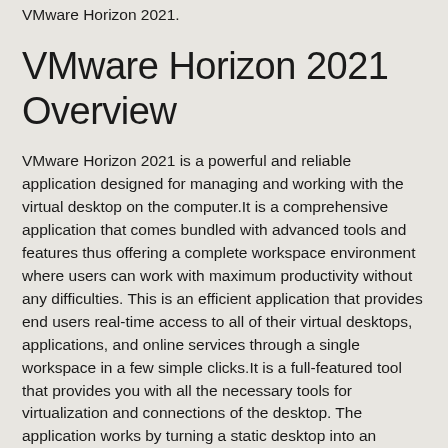VMware Horizon 2021.
VMware Horizon 2021 Overview
VMware Horizon 2021 is a powerful and reliable application designed for managing and working with the virtual desktop on the computer.It is a comprehensive application that comes bundled with advanced tools and features thus offering a complete workspace environment where users can work with maximum productivity without any difficulties. This is an efficient application that provides end users real-time access to all of their virtual desktops, applications, and online services through a single workspace in a few simple clicks.It is a full-featured tool that provides you with all the necessary tools for virtualization and connections of the desktop. The application works by turning a static desktop into an